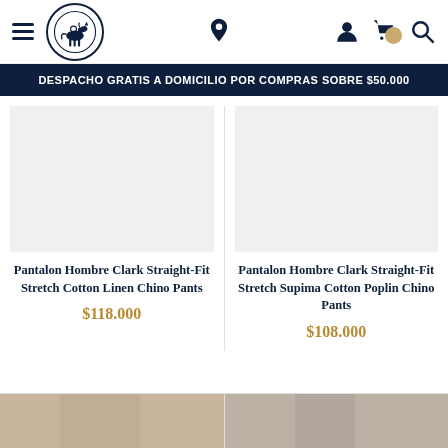Navigation header with hamburger menu, brand logo, location pin, user icon, cart icon, and search icon
DESPACHO GRATIS A DOMICILIO POR COMPRAS SOBRE $50.000
Pantalon Hombre Clark Straight-Fit Stretch Cotton Linen Chino Pants
$118.000
Pantalon Hombre Clark Straight-Fit Stretch Supima Cotton Poplin Chino Pants
$108.000